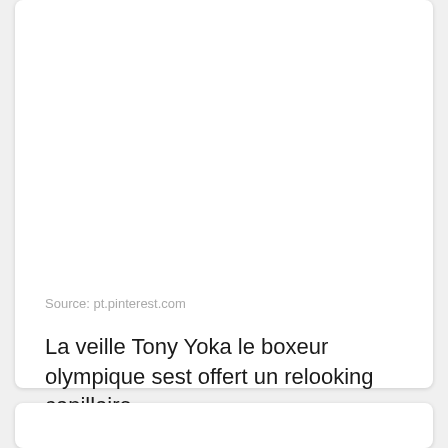Source: pt.pinterest.com
La veille Tony Yoka le boxeur olympique sest offert un relooking capillaire.